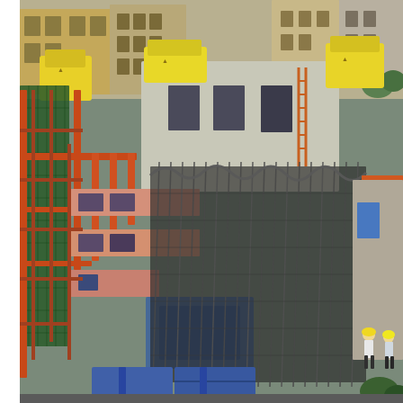[Figure (photo): Aerial/overhead view of an active urban building construction site. The image shows a multi-story building under construction with scaffolding, orange/red safety rails, black safety netting draped vertically across the facade, yellow spray-foam insulation on concrete walls at the top, construction workers visible on the right side wearing hard hats, blue structural steel beams visible at the bottom, green mesh safety barriers on the left, and surrounding city buildings visible in the background.]